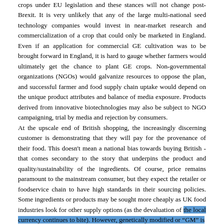crops under EU legislation and these stances will not change post-Brexit. It is very unlikely that any of the large multi-national seed technology companies would invest in near-market research and commercialization of a crop that could only be marketed in England. Even if an application for commercial GE cultivation was to be brought forward in England, it is hard to gauge whether farmers would ultimately get the chance to plant GE crops. Non-governmental organizations (NGOs) would galvanize resources to oppose the plan, and successful farmer and food supply chain uptake would depend on the unique product attributes and balance of media exposure. Products derived from innovative biotechnologies may also be subject to NGO campaigning, trial by media and rejection by consumers.
At the upscale end of British shopping, the increasingly discerning customer is demonstrating that they will pay for the provenance of their food. This doesn't mean a national bias towards buying British - that comes secondary to the story that underpins the product and quality/sustainability of the ingredients. Of course, price remains paramount to the mainstream consumer, but they expect the retailer or foodservice chain to have high standards in their sourcing policies. Some ingredients or products may be sought more cheaply as UK food industries look for other supply options (as the devaluation of the local currency continues to bite). However, genetically modified or "GM" is